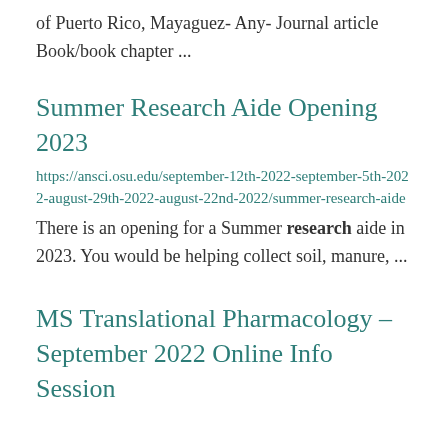of Puerto Rico, Mayaguez- Any- Journal article Book/book chapter ...
Summer Research Aide Opening 2023
https://ansci.osu.edu/september-12th-2022-september-5th-2022-august-29th-2022-august-22nd-2022/summer-research-aide
There is an opening for a Summer research aide in 2023. You would be helping collect soil, manure, ...
MS Translational Pharmacology – September 2022 Online Info Session